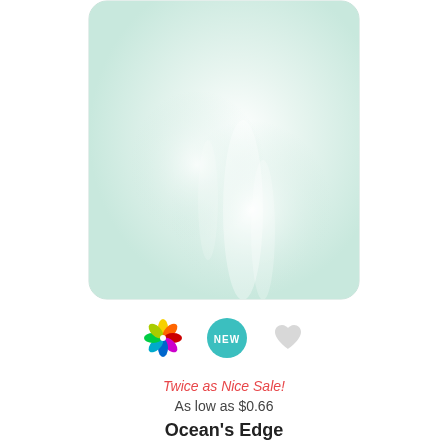[Figure (photo): Product image of a rounded-rectangle card or tile with a light mint/seafoam green gradient with subtle white streaks, on a white background.]
[Figure (infographic): Three icons in a row: a colorful pinwheel/flower icon, a teal circle with 'NEW' text, and a light gray heart icon.]
Twice as Nice Sale!
As low as $0.66
Ocean's Edge